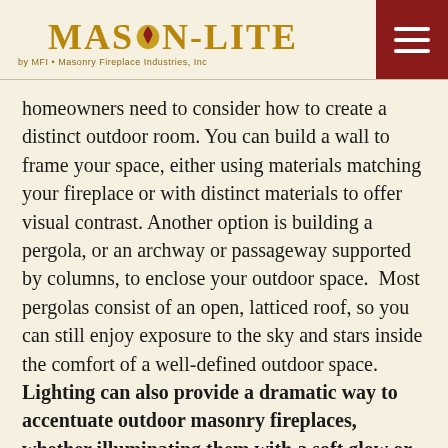MASON-LITE by MFI • Masonry Fireplace Industries, Inc
homeowners need to consider how to create a distinct outdoor room. You can build a wall to frame your space, either using materials matching your fireplace or with distinct materials to offer visual contrast. Another option is building a pergola, or an archway or passageway supported by columns, to enclose your outdoor space.  Most pergolas consist of an open, latticed roof, so you can still enjoy exposure to the sky and stars inside the comfort of a well-defined outdoor space. Lighting can also provide a dramatic way to accentuate outdoor masonry fireplaces, whether illuminating them with a soft glow or a bright spotlight.